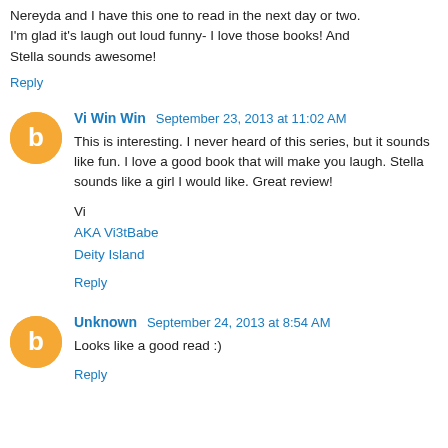Nereyda and I have this one to read in the next day or two. I'm glad it's laugh out loud funny- I love those books! And Stella sounds awesome!
Reply
Vi Win Win  September 23, 2013 at 11:02 AM
This is interesting. I never heard of this series, but it sounds like fun. I love a good book that will make you laugh. Stella sounds like a girl I would like. Great review!
Vi
AKA Vi3tBabe
Deity Island
Reply
Unknown  September 24, 2013 at 8:54 AM
Looks like a good read :)
Reply